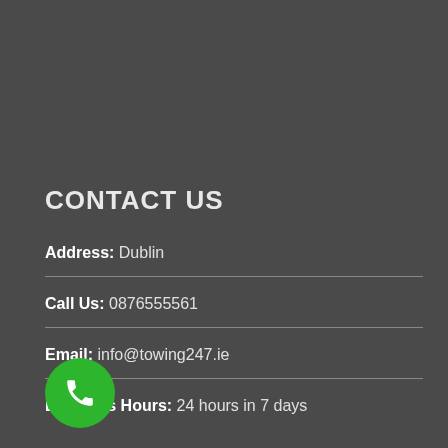CONTACT US
Address: Dublin
Call Us: 0876555561
Email: info@towing247.ie
Business Hours: 24 hours in 7 days
[Figure (illustration): Green circular button with white phone/call icon]